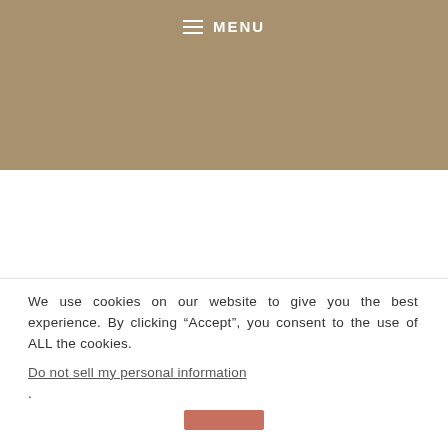MENU
We use cookies on our website to give you the best experience. By clicking “Accept”, you consent to the use of ALL the cookies.
Do not sell my personal information.